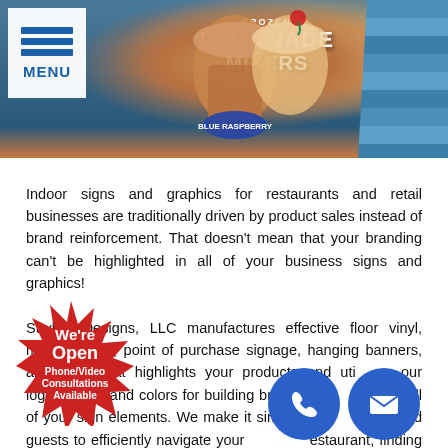[Figure (photo): Indoor signage photo showing a Frozen Lemonade Mixers hanging banner/sign display with blue and brown tones, and a staircase visible on the right side. A navigation menu button with three blue bars and 'MENU' label appears in the top-left corner.]
Indoor signs and graphics for restaurants and retail businesses are traditionally driven by product sales instead of brand reinforcement. That doesn't mean that your branding can't be highlighted in all of your business signs and graphics!
Stryker Designs, LLC manufactures effective floor vinyl, menu boards, point of purchase signage, hanging banners, and more that highlights your products and utilizes your logos, fonts, and colors for building brand recognition with all of your sign elements. We make it simple for customers and guests to efficiently navigate your store or restaurant, finding the areas, products, and departments needed to complete a transaction. We deliver
[Figure (infographic): Red star-shaped 'We're Open' badge with text 'Phone/Video Consultations Available']
[Figure (illustration): Blue circle with white phone handset icon]
[Figure (illustration): Blue circle with white envelope/email icon]